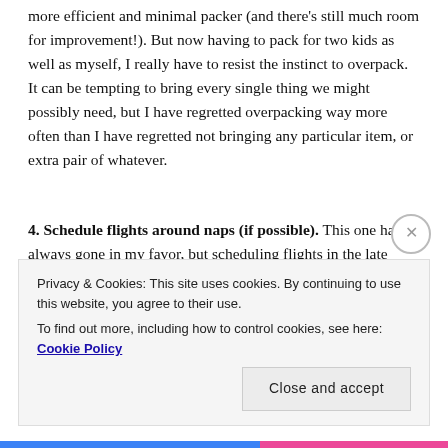more efficient and minimal packer (and there's still much room for improvement!). But now having to pack for two kids as well as myself, I really have to resist the instinct to overpack. It can be tempting to bring every single thing we might possibly need, but I have regretted overpacking way more often than I have regretted not bringing any particular item, or extra pair of whatever.
4. Schedule flights around naps (if possible). This one hasn't always gone in my favor, but scheduling flights in the late morning / midday sometimes means my little ones are able to pass out at some point on a long
Privacy & Cookies: This site uses cookies. By continuing to use this website, you agree to their use.
To find out more, including how to control cookies, see here: Cookie Policy